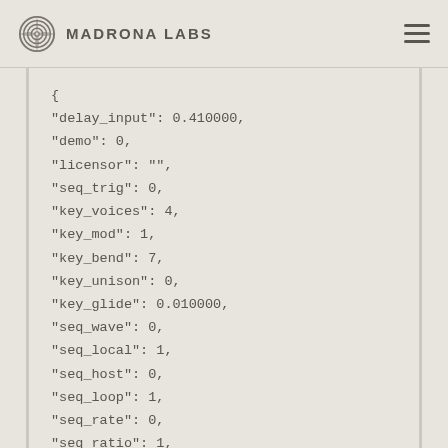Madrona Labs
{
"delay_input": 0.410000,
"demo": 0,
"licensor": "",
"seq_trig": 0,
"key_voices": 4,
"key_mod": 1,
"key_bend": 7,
"key_unison": 0,
"key_glide": 0.010000,
"seq_wave": 0,
"seq_local": 1,
"seq_host": 0,
"seq_loop": 1,
"seq_rate": 0,
"seq_ratio": 1,